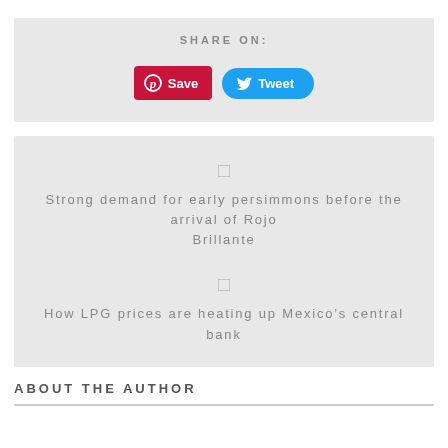SHARE ON:
[Figure (infographic): Pinterest Save button (red/dark red rounded rectangle) and Twitter Tweet button (blue pill shape) side by side]
[Figure (infographic): Article link with icon: Strong demand for early persimmons before the arrival of Rojo Brillante]
Strong demand for early persimmons before the arrival of Rojo Brillante
[Figure (infographic): Article link with icon: How LPG prices are heating up Mexico's central bank]
How LPG prices are heating up Mexico’s central bank
ABOUT THE AUTHOR